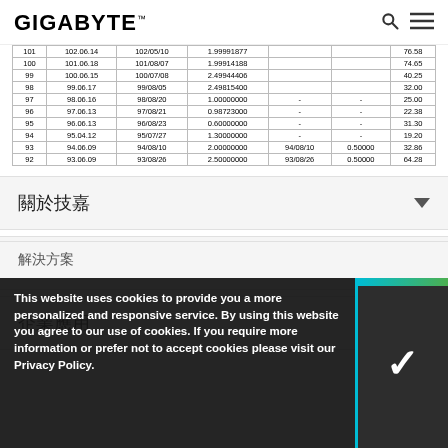GIGABYTE
| 101 | 102.06.14 | 102/05/10 | 1.99991877 |  |  | 76.58 |
| 100 | 101.06.18 | 101/08/07 | 1.99914188 |  |  | 74.65 |
| 99 | 100.06.15 | 100/07/08 | 2.49944406 |  |  | 40.25 |
| 98 | 99.06.17 | 99/08/05 | 2.49815400 |  |  | 32.00 |
| 97 | 98.06.16 | 98/08/20 | 1.00000000 | - | - | 25.00 |
| 96 | 97.06.13 | 97/08/21 | 0.98723000 | - | - | 22.38 |
| 95 | 96.06.13 | 96/08/23 | 0.60000000 | - | - | 31.30 |
| 94 | 95.04.12 | 95/07/27 | 1.30000000 | - | - | 19.20 |
| 93 | 94.06.09 | 94/08/10 | 2.00000000 | 94/08/10 | 0.50000 | 32.86 |
| 92 | 93.06.09 | 93/08/26 | 2.50000000 | 93/08/26 | 0.50000 | 64.28 |
關於技嘉
個人應用
企業應用
This website uses cookies to provide you a more personalized and responsive service. By using this website you agree to our use of cookies. If you require more information or prefer not to accept cookies please visit our Privacy Policy.